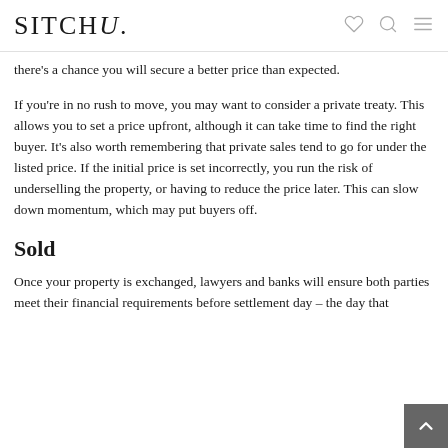SITCHU.
there's a chance you will secure a better price than expected.
If you're in no rush to move, you may want to consider a private treaty. This allows you to set a price upfront, although it can take time to find the right buyer. It's also worth remembering that private sales tend to go for under the listed price. If the initial price is set incorrectly, you run the risk of underselling the property, or having to reduce the price later. This can slow down momentum, which may put buyers off.
Sold
Once your property is exchanged, lawyers and banks will ensure both parties meet their financial requirements before settlement day – the day that